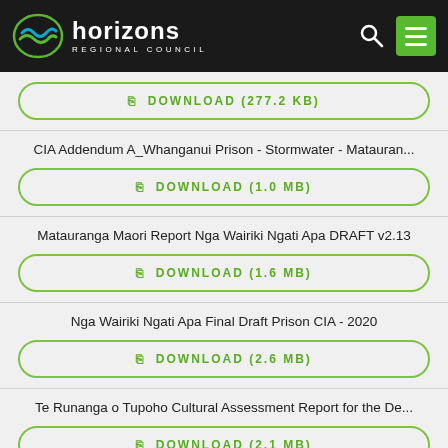horizons REGIONAL COUNCIL
DOWNLOAD (277.2 KB)
CIA Addendum A_Whanganui Prison - Stormwater - Matauran...
DOWNLOAD (1.0 MB)
Matauranga Maori Report Nga Wairiki Ngati Apa DRAFT v2.13
DOWNLOAD (1.6 MB)
Nga Wairiki Ngati Apa Final Draft Prison CIA - 2020
DOWNLOAD (2.6 MB)
Te Runanga o Tupoho Cultural Assessment Report for the De...
DOWNLOAD (2.1 MB)